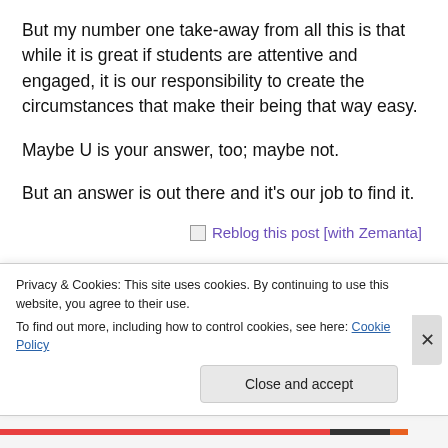But my number one take-away from all this is that while it is great if students are attentive and engaged, it is our responsibility to create the circumstances that make their being that way easy.
Maybe U is your answer, too; maybe not.
But an answer is out there and it’s our job to find it.
[Figure (other): Reblog this post [with Zemanta] link with small image icon]
Advertisements
[Figure (other): WooCommerce advertisement banner in purple]
Privacy & Cookies: This site uses cookies. By continuing to use this website, you agree to their use.
To find out more, including how to control cookies, see here: Cookie Policy